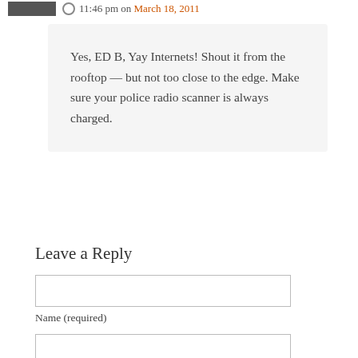11:46 pm on March 18, 2011
Yes, ED B, Yay Internets! Shout it from the rooftop — but not too close to the edge. Make sure your police radio scanner is always charged.
Leave a Reply
Name (required)
Email (will not be published) (required)